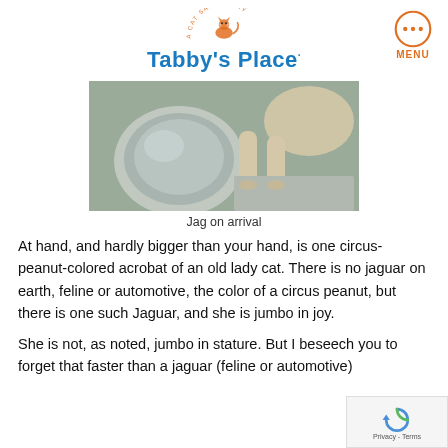[Figure (logo): Tabby's Place cat sanctuary logo with orange cat illustration above blue bold text 'Tabby's Place' and a circular orange menu button with three dots in upper right]
[Figure (photo): A cat standing next to a large stainless steel bowl, photographed from above on a grey surface]
Jag on arrival
At hand, and hardly bigger than your hand, is one circus-peanut-colored acrobat of an old lady cat. There is no jaguar on earth, feline or automotive, the color of a circus peanut, but there is one such Jaguar, and she is jumbo in joy.
She is not, as noted, jumbo in stature. But I beseech you to forget that faster than a jaguar (feline or automotive)